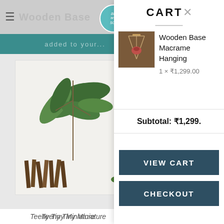[Figure (screenshot): E-commerce website screenshot showing an art and soil store page with a cart overlay panel. Left side shows the website with a teal header, product images of a miniature plant item. Right side shows a white cart panel with 'CART X' header, a product thumbnail of Wooden Base Macrame Hanging priced at 1 x ₹1,299.00, subtotal ₹1,299., and VIEW CART and CHECKOUT buttons in dark teal.]
Teeny Tiny Miniature